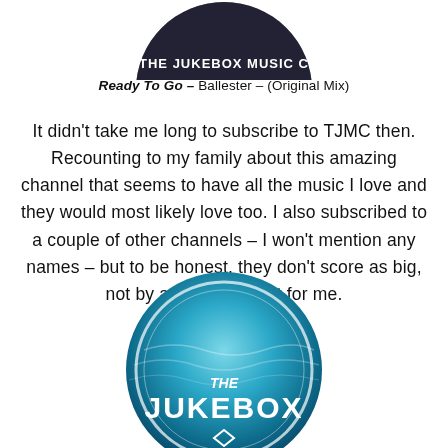[Figure (photo): Partially visible circular logo/image for The Jukebox Music Channel at top of page, cropped circle with dark overlay and text 'THE JUKEBOX MUSIC C']
Ready To Go – Ballester – (Original Mix)
It didn't take me long to subscribe to TJMC then. Recounting to my family about this amazing channel that seems to have all the music I love and they would most likely love too. I also subscribed to a couple of other channels – I won't mention any names – but to be honest, they don't score as big, not by a long shot, not for me.
[Figure (logo): Circular logo for The Jukebox Music Channel with ocean/water background and white text reading 'THE JUKEBOX' partially visible, bottom half of circle cropped at page edge]